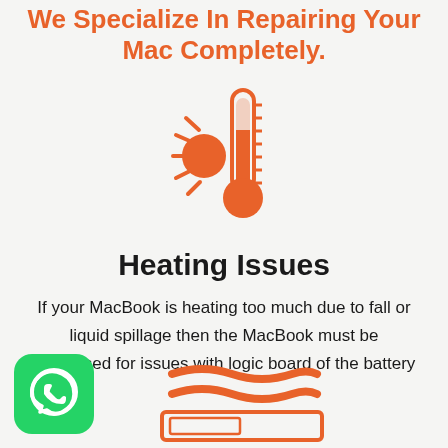We Specialize In Repairing Your Mac Completely.
[Figure (illustration): Orange thermometer with sun rays icon indicating heating/temperature]
Heating Issues
If your MacBook is heating too much due to fall or liquid spillage then the MacBook must be diagnosed for issues with logic board of the battery
[Figure (logo): WhatsApp green logo icon in bottom left corner]
[Figure (illustration): Orange laptop/computer illustration at bottom center]